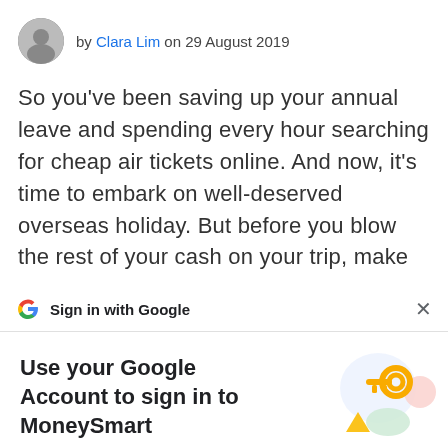by Clara Lim on 29 August 2019
So you’ve been saving up your annual leave and spending every hour searching for cheap air tickets online. And now, it’s time to embark on well-deserved overseas holiday. But before you blow the rest of your cash on your trip, make
[Figure (screenshot): Google Sign-in dialog: Sign in with Google header bar with Google logo and X close button, then a panel reading 'Use your Google Account to sign in to MoneySmart' with a decorative key illustration, subtitle 'No more passwords to remember. Signing in is fast, simple and secure.' and a blue Continue button.]